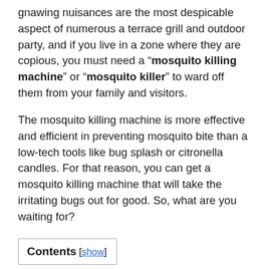gnawing nuisances are the most despicable aspect of numerous a terrace grill and outdoor party, and if you live in a zone where they are copious, you must need a "mosquito killing machine" or "mosquito killer" to ward off them from your family and visitors.
The mosquito killing machine is more effective and efficient in preventing mosquito bite than a low-tech tools like bug splash or citronella candles. For that reason, you can get a mosquito killing machine that will take the irritating bugs out for good. So, what are you waiting for?
Contents [show]